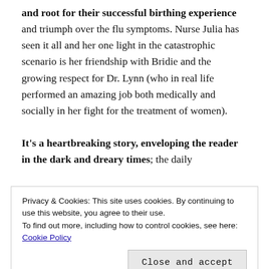and root for their successful birthing experience and triumph over the flu symptoms. Nurse Julia has seen it all and her one light in the catastrophic scenario is her friendship with Bridie and the growing respect for Dr. Lynn (who in real life performed an amazing job both medically and socially in her fight for the treatment of women).
It's a heartbreaking story, enveloping the reader in the dark and dreary times; the daily...
Privacy & Cookies: This site uses cookies. By continuing to use this website, you agree to their use. To find out more, including how to control cookies, see here: Cookie Policy
disturbing.